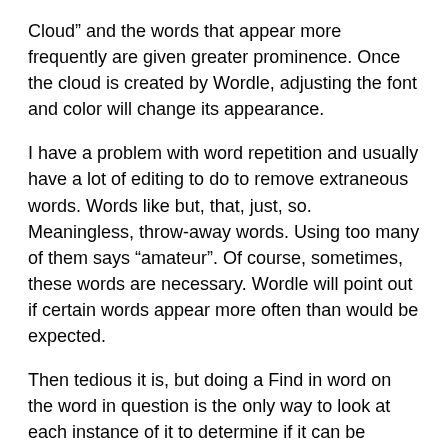Cloud” and the words that appear more frequently are given greater prominence. Once the cloud is created by Wordle, adjusting the font and color will change its appearance.
I have a problem with word repetition and usually have a lot of editing to do to remove extraneous words. Words like but, that, just, so. Meaningless, throw-away words. Using too many of them says “amateur”. Of course, sometimes, these words are necessary. Wordle will point out if certain words appear more often than would be expected.
Then tedious it is, but doing a Find in word on the word in question is the only way to look at each instance of it to determine if it can be removed or not.
Wordle cloud for Perigee Moon: